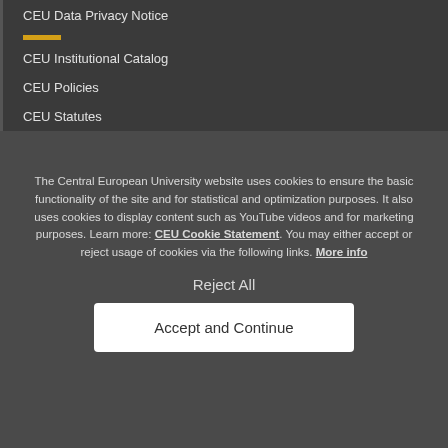CEU Data Privacy Notice
CEU Institutional Catalog
CEU Policies
CEU Statutes
The Central European University website uses cookies to ensure the basic functionality of the site and for statistical and optimization purposes. It also uses cookies to display content such as YouTube videos and for marketing purposes. Learn more: CEU Cookie Statement. You may either accept or reject usage of cookies via the following links. More info
Reject All
Accept and Continue